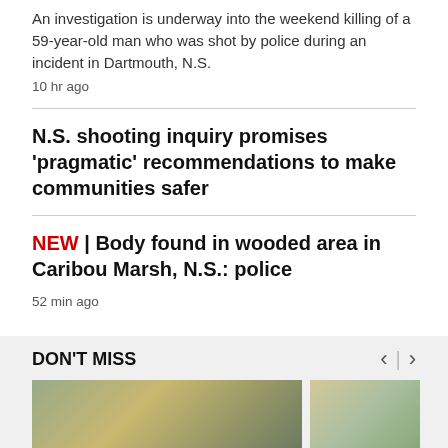An investigation is underway into the weekend killing of a 59-year-old man who was shot by police during an incident in Dartmouth, N.S.
10 hr ago
N.S. shooting inquiry promises 'pragmatic' recommendations to make communities safer
NEW | Body found in wooded area in Caribou Marsh, N.S.: police
52 min ago
DON'T MISS
[Figure (photo): Two photos side by side in the DON'T MISS section at the bottom of the page]